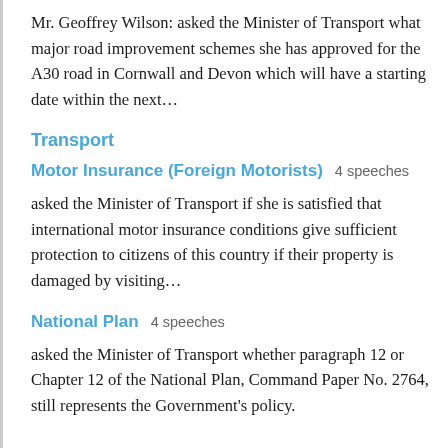Mr. Geoffrey Wilson: asked the Minister of Transport what major road improvement schemes she has approved for the A30 road in Cornwall and Devon which will have a starting date within the next…
Transport
Motor Insurance (Foreign Motorists)  4 speeches
asked the Minister of Transport if she is satisfied that international motor insurance conditions give sufficient protection to citizens of this country if their property is damaged by visiting…
National Plan  4 speeches
asked the Minister of Transport whether paragraph 12 or Chapter 12 of the National Plan, Command Paper No. 2764, still represents the Government's policy.